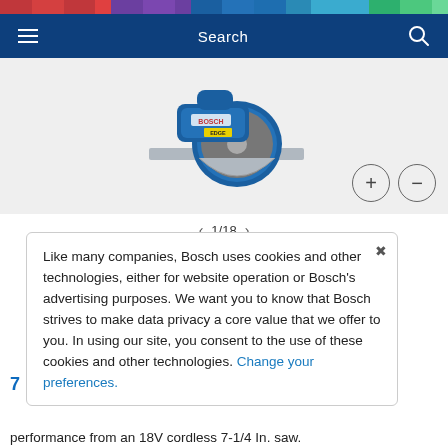Search
[Figure (photo): Bosch cordless circular saw product photo on light gray background with zoom in (+) and zoom out (-) circle buttons]
1/18
Like many companies, Bosch uses cookies and other technologies, either for website operation or Bosch's advertising purposes. We want you to know that Bosch strives to make data privacy a core value that we offer to you. In using our site, you consent to the use of these cookies and other technologies. Change your preferences.
performance from an 18V cordless 7-1/4 In. saw.